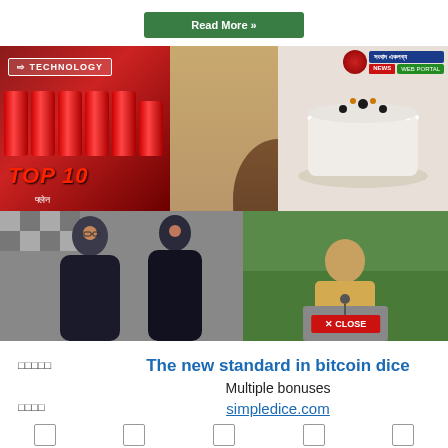Read More »
[Figure (screenshot): A collage showing: top-left a red 'TECHNOLOGY' labeled image with LPG gas cylinders and 'TOP 10' text in red; center a hand/wooden background; top-right a white cake on a plate; top-far-right a Bengali news website logo 'সংবাদ একলব্য NEWS'; bottom-left two Bollywood celebrities (male and female) on a checkered background; bottom-right a politician speaking at a podium outdoors with trees, and a red 'X CLOSE' button overlay.]
□□□□□
□□□□
The new standard in bitcoin dice
Multiple bonuses
simpledice.com